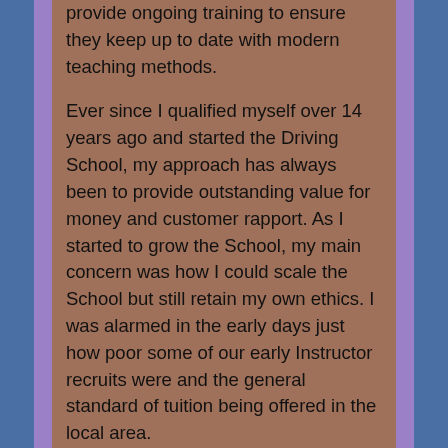provide ongoing training to ensure they keep up to date with modern teaching methods.
Ever since I qualified myself over 14 years ago and started the Driving School, my approach has always been to provide outstanding value for money and customer rapport. As I started to grow the School, my main concern was how I could scale the School but still retain my own ethics. I was alarmed in the early days just how poor some of our early Instructor recruits were and the general standard of tuition being offered in the local area.
It was for this reason that we opened our own Instructor Training Academy. The only way I was able to guarantee that we only recruited the very best